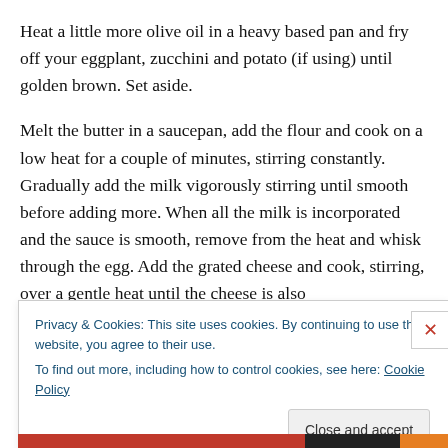Heat a little more olive oil in a heavy based pan and fry off your eggplant, zucchini and potato (if using) until golden brown.  Set aside.
Melt the butter in a saucepan, add the flour and cook on a low heat for a couple of minutes, stirring constantly.  Gradually add the milk vigorously stirring until smooth before adding more.  When all the milk is incorporated and the sauce is smooth, remove from the heat and whisk through the egg.  Add the grated cheese and cook, stirring, over a gentle heat until the cheese is also
Privacy & Cookies: This site uses cookies. By continuing to use this website, you agree to their use.
To find out more, including how to control cookies, see here: Cookie Policy
Close and accept